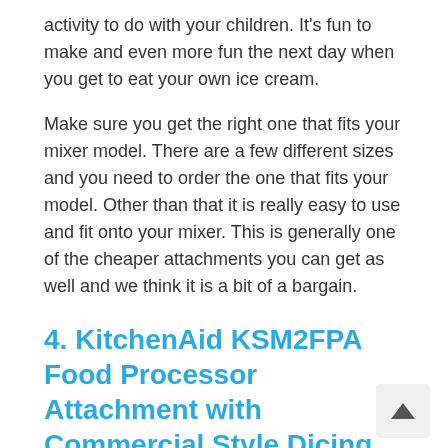activity to do with your children. It's fun to make and even more fun the next day when you get to eat your own ice cream.
Make sure you get the right one that fits your mixer model. There are a few different sizes and you need to order the one that fits your model. Other than that it is really easy to use and fit onto your mixer. This is generally one of the cheaper attachments you can get as well and we think it is a bit of a bargain.
4. KitchenAid KSM2FPA Food Processor Attachment with Commercial Style Dicing Kit
Need a food processor? Why not go for this Kitchen Aid